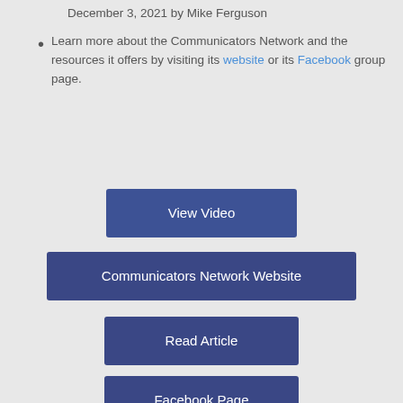December 3, 2021 by Mike Ferguson
Learn more about the Communicators Network and the resources it offers by visiting its website or its Facebook group page.
View Video
Communicators Network Website
Read Article
Facebook Page